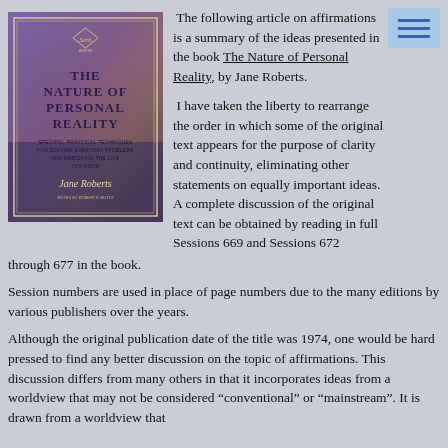[Figure (illustration): Book cover of 'The Nature of Personal Reality' - A Seth Book by Jane Roberts, with notes by Robert F. Butts. Shows colorful abstract background with purple, blue and orange hues. Subtitle: Specific, Practical Techniques for Solving Everyday Problems and Enriching the Life You Know.]
The following article on affirmations is a summary of the ideas presented in the book The Nature of Personal Reality, by Jane Roberts.
I have taken the liberty to rearrange the order in which some of the original text appears for the purpose of clarity and continuity, eliminating other statements on equally important ideas. A complete discussion of the original text can be obtained by reading in full Sessions 669 and Sessions 672 through 677 in the book.
Session numbers are used in place of page numbers due to the many editions by various publishers over the years.
Although the original publication date of the title was 1974, one would be hard pressed to find any better discussion on the topic of affirmations. This discussion differs from many others in that it incorporates ideas from a worldview that may not be considered “conventional” or “mainstream”. It is drawn from a worldview that